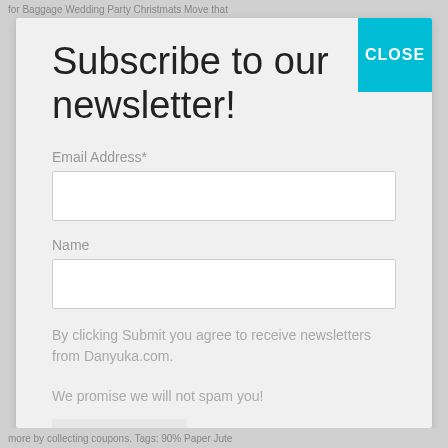for Baggage Wedding Party Christmats Move that
Subscribe to our newsletter!
Email Address*
Name
By clicking Submit you agree to receive newsletters from Danyuka.com.

We promise we will not spam you!
Subscribe
more by collecting coupons. Tags: 90% Paper Jute